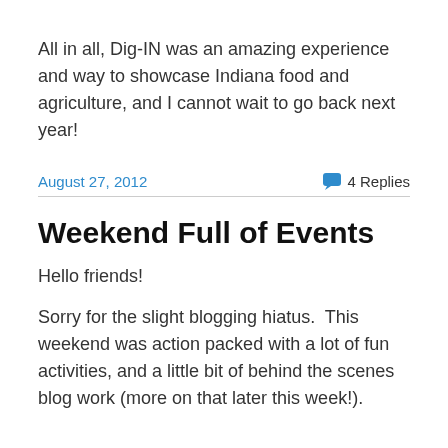All in all, Dig-IN was an amazing experience and way to showcase Indiana food and agriculture, and I cannot wait to go back next year!
August 27, 2012   4 Replies
Weekend Full of Events
Hello friends!
Sorry for the slight blogging hiatus.  This weekend was action packed with a lot of fun activities, and a little bit of behind the scenes blog work (more on that later this week!).